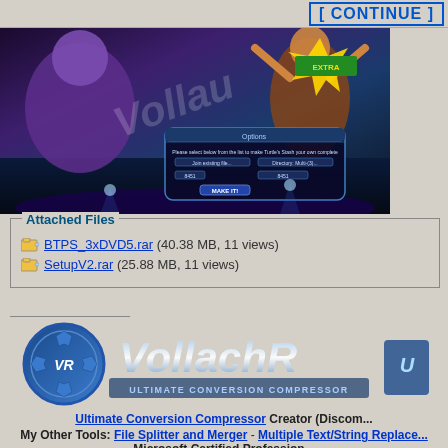[Figure (screenshot): Game screenshot showing action scene with characters, blue and purple lighting, a dialog box overlay, and watermark text 'Vollach']
Attached Files
BTPS_3xDVD5.rar (40.38 MB, 11 views)
SetupV2.rar (25.88 MB, 11 views)
[Figure (logo): VollachR Ultimate Conversion Compressor logo with circular gear/shield icon and stylized text]
Ultimate Conversion Compressor Creator (Discom...
My Other Tools: File Splitter and Merger - Multiple Text/String Replace...
Microsoft Certified Profession...